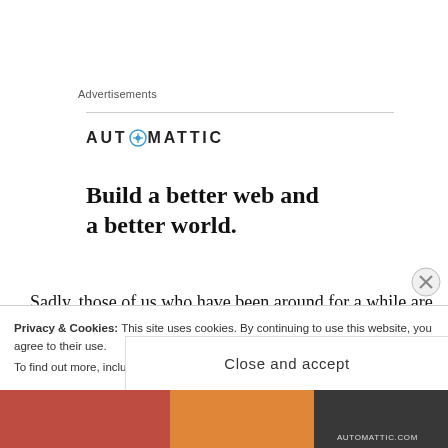Advertisements
[Figure (logo): Automattic logo with compass icon replacing the 'O' in AUTOMATTIC]
Build a better web and a better world.
Sadly, those of us who have been around for a while are all too familiar with stories of family members
Privacy & Cookies: This site uses cookies. By continuing to use this website, you agree to their use.
To find out more, including how to control cookies, see here: Cookie Policy
Close and accept